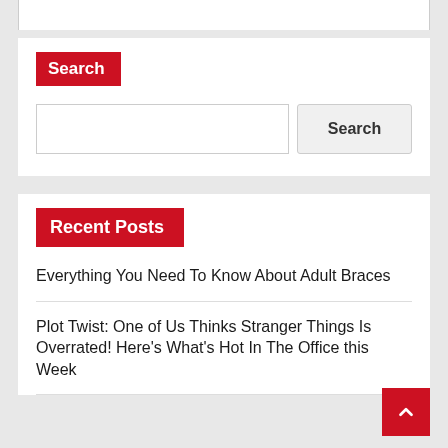Search
[Figure (other): Search input field and Search button]
Recent Posts
Everything You Need To Know About Adult Braces
Plot Twist: One of Us Thinks Stranger Things Is Overrated! Here's What's Hot In The Office this Week